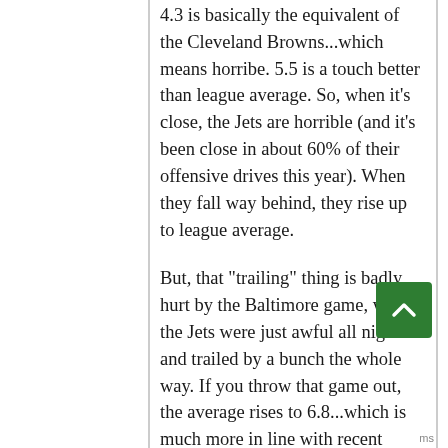4.3 is basically the equivalent of the Cleveland Browns...which means horribe. 5.5 is a touch better than league average. So, when it's close, the Jets are horrible (and it's been close in about 60% of their offensive drives this year). When they fall way behind, they rise up to league average.
But, that "trailing" thing is badly hurt by the Baltimore game, where the Jets were just awful all night and trailed by a bunch the whole way. If you throw that game out, the average rises to 6.8...which is much more in line with recent impressions...the Jets are Cleveland when the game is close, but have had a lot of success outside of the Baltimore game when trying to drive the field from